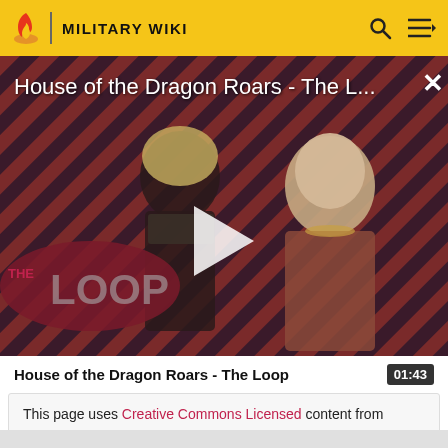MILITARY WIKI
[Figure (screenshot): Video thumbnail for 'House of the Dragon Roars - The Loop' showing two characters from the show against a diagonal red and dark stripe background, with THE LOOP badge at bottom left and a play button in the center.]
House of the Dragon Roars - The Loop
This page uses Creative Commons Licensed content from Wikipedia (view authors).